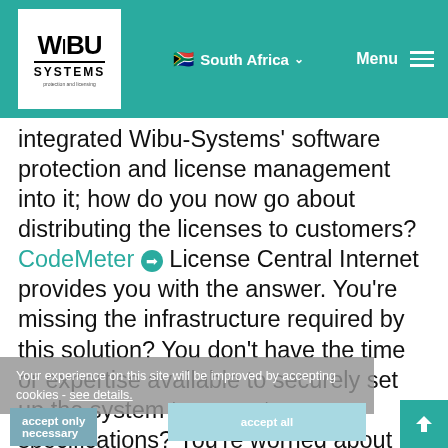WIBU SYSTEMS | South Africa | Menu
integrated Wibu-Systems' software protection and license management into it; how do you now go about distributing the licenses to customers? CodeMeter ➔ License Central Internet provides you with the answer. You're missing the infrastructure required by this solution? You don't have the time or expertise available to securely set up the system to current specifications? You're worried about the internal cost and effort involved in running the system? No problem! Make life easy for yourself and let Wibu-Systems do the work for you!